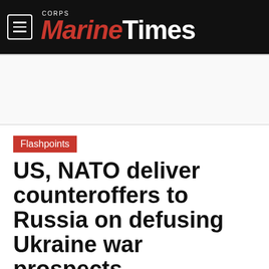Marine Corps Times
Flashpoints
US, NATO deliver counteroffers to Russia on defusing Ukraine war prospects
By Sebastian Sprenger